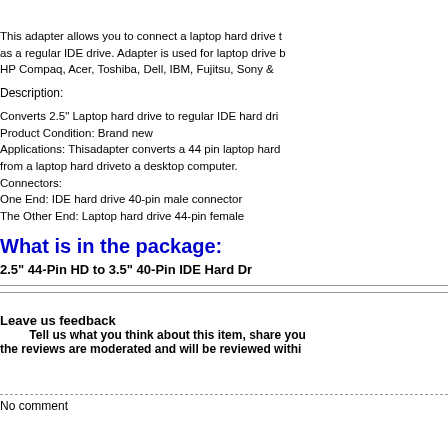This adapter allows you to connect a laptop hard drive to a desktop computer as a regular IDE drive. Adapter is used for laptop drive brands such as HP Compaq, Acer, Toshiba, Dell, IBM, Fujitsu, Sony &
Description:
Converts 2.5" Laptop hard drive to regular IDE hard drive
Product Condition: Brand new
Applications: Thisadapter converts a 44 pin laptop hard drive from a laptop hard driveto a desktop computer.
Connectors:
One End: IDE hard drive 40-pin male connector
The Other End: Laptop hard drive 44-pin female
What is in the package:
2.5" 44-Pin HD to 3.5" 40-Pin IDE Hard Dr
Leave us feedback
Tell us what you think about this item, share you
the reviews are moderated and will be reviewed withi
No comment